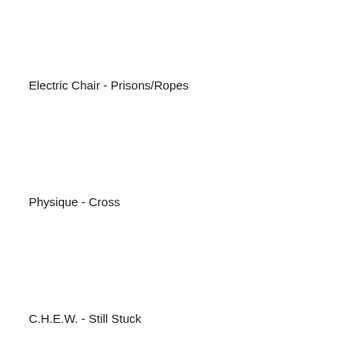Electric Chair - Prisons/Ropes
Physique - Cross
C.H.E.W. - Still Stuck
Mala Leche - En Celo
Control Test - No Me Digas Nada
Cruelster - Coco's Secret
Patti - Voodoo